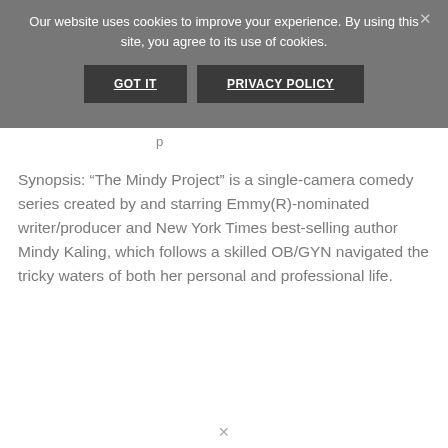Our website uses cookies to improve your experience. By using this site, you agree to its use of cookies.
GOT IT
PRIVACY POLICY
p
Synopsis: “The Mindy Project” is a single-camera comedy series created by and starring Emmy(R)-nominated writer/producer and New York Times best-selling author Mindy Kaling, which follows a skilled OB/GYN navigated the tricky waters of both her personal and professional life.